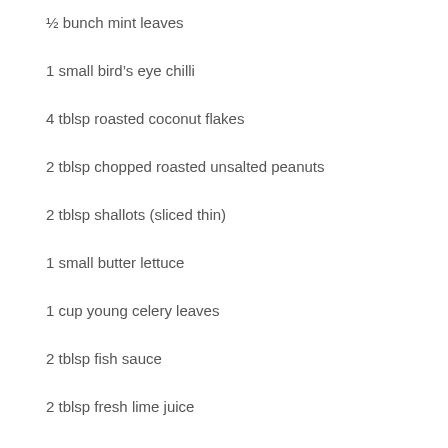½ bunch mint leaves
1 small bird's eye chilli
4 tblsp roasted coconut flakes
2 tblsp chopped roasted unsalted peanuts
2 tblsp shallots (sliced thin)
1 small butter lettuce
1 cup young celery leaves
2 tblsp fish sauce
2 tblsp fresh lime juice